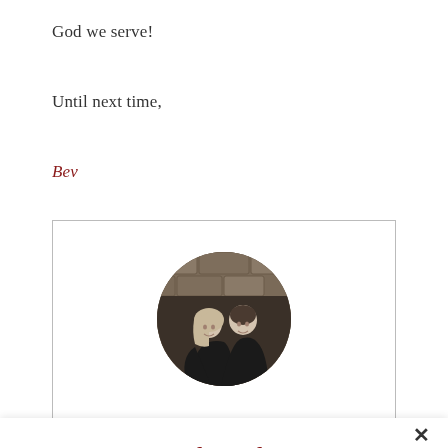God we serve!
Until next time,
Bev
[Figure (photo): Circular photo of a couple, a woman with blonde hair and a man in black, standing in front of a stone wall background.]
Subscribe
Sign up to receive the latest articles delivered to your inbox as soon as they are posted.
Email Address *